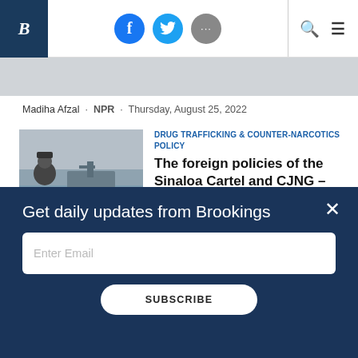Brookings Institution website header with logo, social icons (Facebook, Twitter, more), search and menu icons
Madiha Afzal · NPR · Thursday, August 25, 2022
[Figure (photo): A person in military or naval uniform viewed from behind, looking at a ship on the water]
DRUG TRAFFICKING & COUNTER-NARCOTICS POLICY
The foreign policies of the Sinaloa Cartel and CJNG – Part III: Africa
Vanda Felbab-Brown ·
Get daily updates from Brookings
Enter Email
SUBSCRIBE